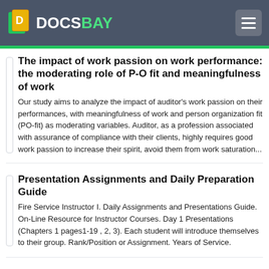DOCSBAY
The impact of work passion on work performance: the moderating role of P-O fit and meaningfulness of work
Our study aims to analyze the impact of auditor's work passion on their performances, with meaningfulness of work and person organization fit (PO-fit) as moderating variables. Auditor, as a profession associated with assurance of compliance with their clients, highly requires good work passion to increase their spirit, avoid them from work saturation...
Presentation Assignments and Daily Preparation Guide
Fire Service Instructor I. Daily Assignments and Presentations Guide. On-Line Resource for Instructor Courses. Day 1 Presentations (Chapters 1 pages1-19 , 2, 3). Each student will introduce themselves to their group. Rank/Position or Assignment. Years of Service.